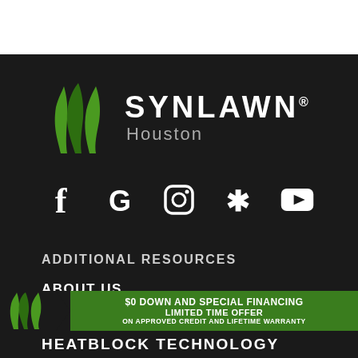[Figure (logo): SYNLawn Houston logo with green grass blades icon and brand name]
[Figure (infographic): Social media icons row: Facebook, Google, Instagram, Yelp, YouTube]
ADDITIONAL RESOURCES
ABOUT US
[Figure (infographic): Green banner ad: $0 DOWN AND SPECIAL FINANCING LIMITED TIME OFFER ON APPROVED CREDIT AND LIFETIME WARRANTY with SYNLawn logo and arrow]
HEATBLOCK TECHNOLOGY